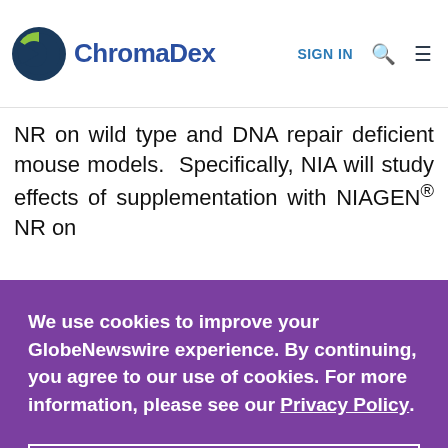ChromaDex | SIGN IN
NR on wild type and DNA repair deficient mouse models. Specifically, NIA will study effects of supplementation with NIAGEN® NR on
We use cookies to improve your GlobeNewswire experience. By continuing, you agree to our use of cookies. For more information, please see our Privacy Policy.
ACCEPT